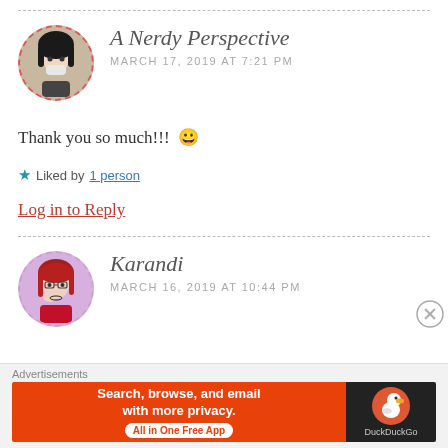[Figure (illustration): Avatar of A Nerdy Perspective — anime-style character with dark hair]
A Nerdy Perspective
MARCH 17, 2019 AT 7:21 PM
Thank you so much!!! 😀
★ Liked by 1 person
Log in to Reply
[Figure (illustration): Avatar of Karandi — anime-style character with red hair]
Karandi
MARCH 16, 2019 AT 10:44 PM
Advertisements
[Figure (other): DuckDuckGo advertisement banner: Search, browse, and email with more privacy. All in One Free App.]